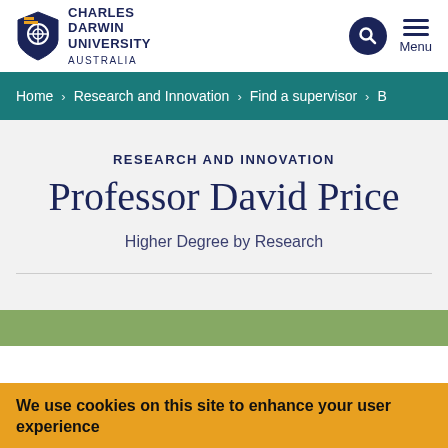[Figure (logo): Charles Darwin University Australia logo with shield emblem]
Home > Research and Innovation > Find a supervisor > B
RESEARCH AND INNOVATION
Professor David Price
Higher Degree by Research
[Figure (photo): Partial photo visible at bottom of page, appears to show outdoor/nature scene]
We use cookies on this site to enhance your user experience